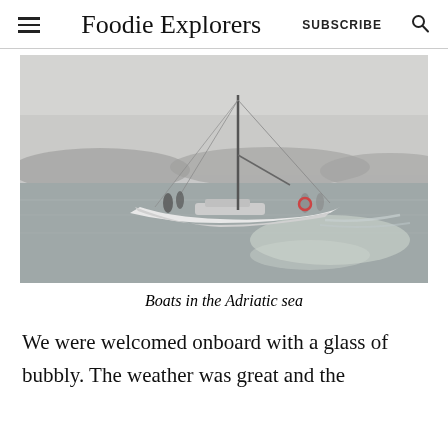Foodie Explorers — SUBSCRIBE
[Figure (photo): A white sailboat on calm grey water with mountainous coastline in the background under an overcast sky. Several people visible on deck. The sea reflects silvery light.]
Boats in the Adriatic sea
We were welcomed onboard with a glass of bubbly. The weather was great and the